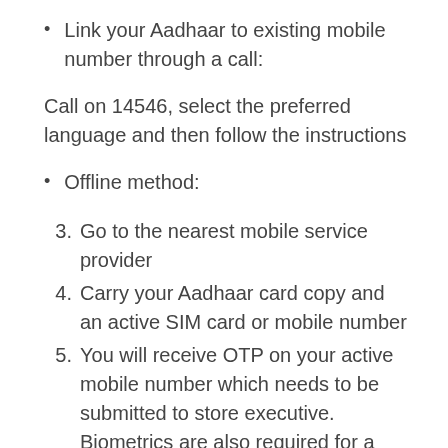Link your Aadhaar to existing mobile number through a call:
Call on 14546, select the preferred language and then follow the instructions
Offline method:
3. Go to the nearest mobile service provider
4. Carry your Aadhaar card copy and an active SIM card or mobile number
5. You will receive OTP on your active mobile number which needs to be submitted to store executive. Biometrics are also required for a successful linking process
6. You will receive an SMS within 24 hours. To complete the e-KYC reply “Y” to the SMS.
7. Now your mobile number has been